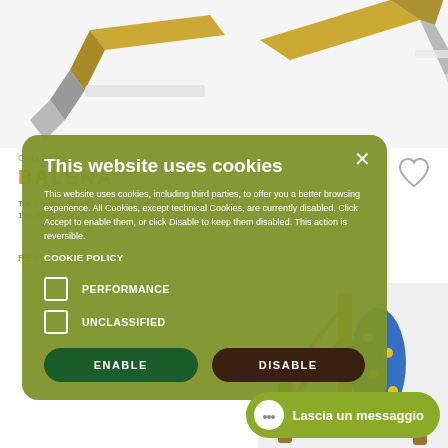[Figure (screenshot): Screenshot of a playground equipment product page with a cookie consent overlay. Top portion shows a 3D render of playground slide equipment (yellow and grey). Background shows product code COD. 015051, product name BALENA in yellow, and partial product description text. A green rounded cookie consent modal overlays the center of the page with title 'This website uses cookies', body text about cookie policy, PERFORMANCE and UNCLASSIFIED checkboxes, ENABLE and DISABLE buttons. Bottom right has a playground equipment image with blue and yellow elements. A green chat button 'Lascia un messaggio' appears at bottom right.]